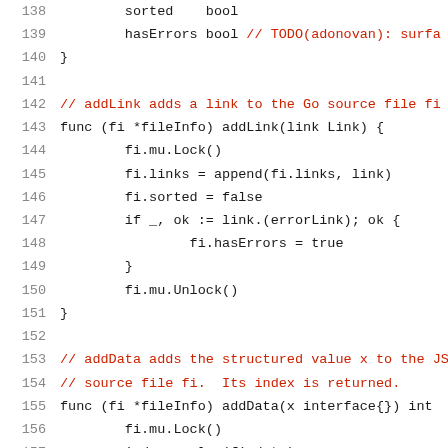Code listing lines 138-159, Go source code with line numbers. Contains struct fields, function definitions, and comments.